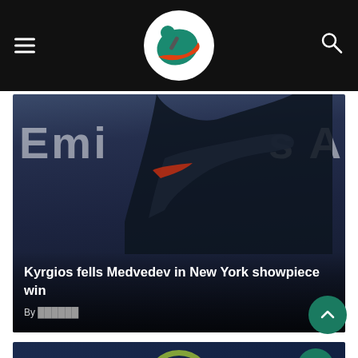Sports news website header with hamburger menu, logo, and search icon
[Figure (photo): Tennis player (Kyrgios) at US Open with Emirates advertising board in background, dark action photo]
Kyrgios fells Medvedev in New York showpiece win
By [author name]
[Figure (photo): Partial view of second article card showing a tennis racket on blue background]